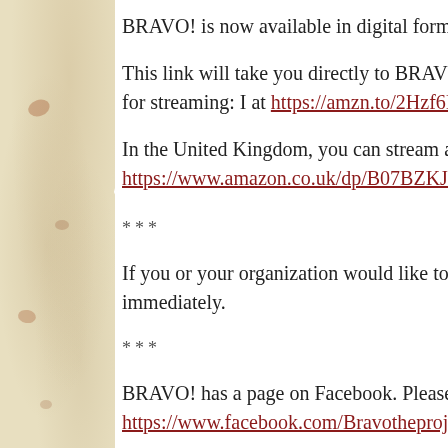BRAVO! is now available in digital form on Ama
This link will take you directly to BRAVO!'s Ama you can take a look at the options for streaming: I at https://amzn.to/2Hzf6In.
In the United Kingdom, you can stream at https://www.amazon.co.uk/dp/B07BZKJXBM.
***
If you or your organization would like to host a sc your town, please contact us immediately.
***
BRAVO! has a page on Facebook. Please “like” u at https://www.facebook.com/Bravotheproject?re